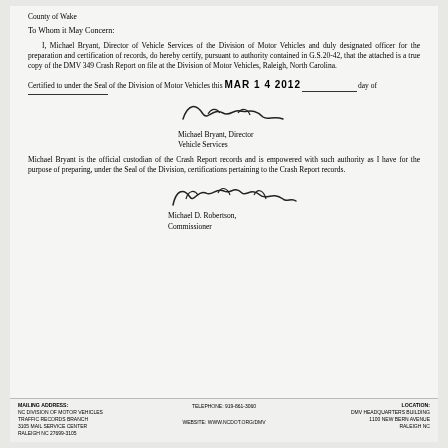County of Wake
To Whom it May Concern:
I, Michael Bryant, Director of Vehicle Services of the Division of Motor Vehicles and duly designated officer for the preparation and certification of records, do hereby certify, pursuant to authority contained in G.S.20-42, that the attached is a true copy of the DMV 349 Crash Report on file at the Division of Motor Vehicles, Raleigh, North Carolina.
Certified to under the Seal of the Division of Motor Vehicles this MAR 1 4 2012 day of _________.
[Figure (illustration): Handwritten signature of Michael Bryant]
Michael Bryant, Director
Vehicle Services
Michael Bryant is the official custodian of the Crash Report records and is empowered with such authority as I have for the purpose of preparing, under the Seal of the Division, certifications pertaining to the Crash Report records.
[Figure (illustration): Handwritten signature of Michael D. Robertson]
Michael D. Robertson,
Commissioner
MAILING ADDRESS: NC DIVISION OF MOTOR VEHICLES TRAFFIC RECORDS BRANCH 3105 MAIL SERVICE CENTER RALEIGH NC 27699-3105 | TELEPHONE: 919-861-3060 | WEBSITE: WWW.NCDOT.ORG/DMV | LOCATION: DMV HEADQUARTERS BUILDING 1100 NEW BERN AVENUE RALEIGH NC